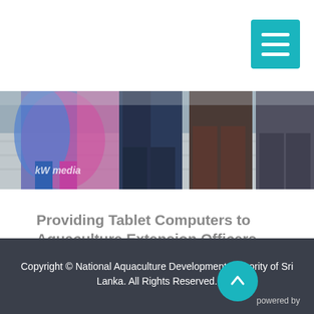[Figure (photo): Cropped photo showing people standing, partially visible from torso down. A woman in a colorful sari on the left, men in dark formal wear in the center and right. A watermark 'kW media' is visible in the lower left of the image.]
Providing Tablet Computers to Aquaculture Extension Officers
Copyright © National Aquaculture Development Authority of Sri Lanka. All Rights Reserved.
powered by